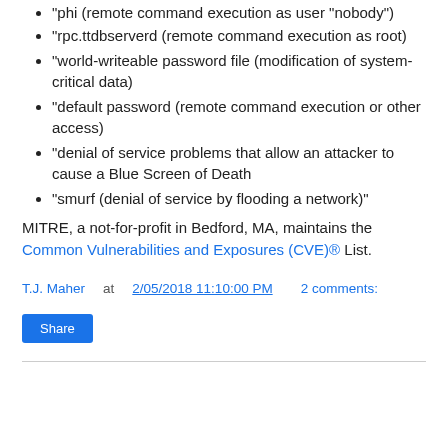"phi (remote command execution as user "nobody")
"rpc.ttdbserverd (remote command execution as root)
"world-writeable password file (modification of system-critical data)
"default password (remote command execution or other access)
"denial of service problems that allow an attacker to cause a Blue Screen of Death
"smurf (denial of service by flooding a network)"
MITRE, a not-for-profit in Bedford, MA, maintains the Common Vulnerabilities and Exposures (CVE)® List.
T.J. Maher at 2/05/2018 11:10:00 PM    2 comments: